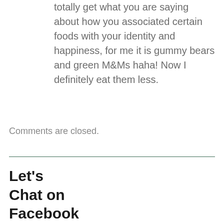totally get what you are saying about how you associated certain foods with your identity and happiness, for me it is gummy bears and green M&Ms haha! Now I definitely eat them less.
Comments are closed.
Let's
Chat on
Facebook